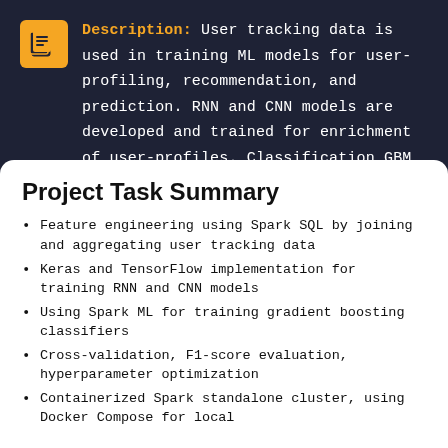Description: User tracking data is used in training ML models for user-profiling, recommendation, and prediction. RNN and CNN models are developed and trained for enrichment of user-profiles. Classification GBM (Gradient Boosting Machine) on extracted and learned features. Workflow implementation for data engineering and continuous model training implementation in Airflow.
Project Task Summary
Feature engineering using Spark SQL by joining and aggregating user tracking data
Keras and TensorFlow implementation for training RNN and CNN models
Using Spark ML for training gradient boosting classifiers
Cross-validation, F1-score evaluation, hyperparameter optimization
Containerized Spark standalone cluster, using Docker Compose for local